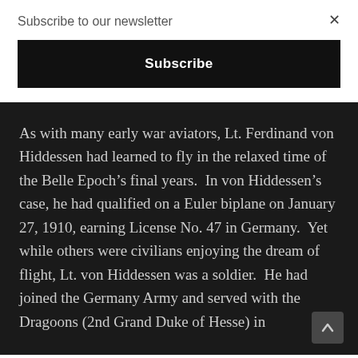Subscribe to our newsletter
Subscribe
As with many early war aviators, Lt. Ferdinand von Hiddessen had learned to fly in the relaxed time of the Belle Epoch’s final years.  In von Hiddessen’s case, he had qualified on a Euler biplane on January 27, 1910, earning License No. 47 in Germany.  Yet while others were civilians enjoying the dream of flight, Lt. von Hiddessen was a soldier.  He had joined the Germany Army and served with the Dragoons (2nd Grand Duke of Hesse) in